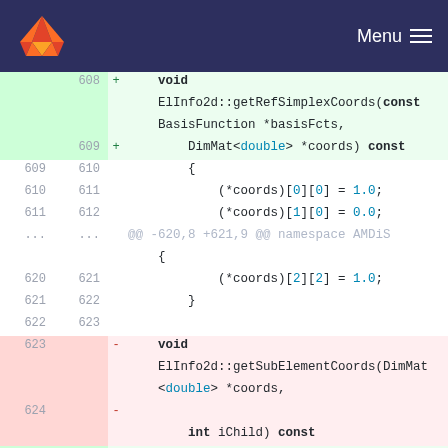GitLab navigation bar with menu
[Figure (screenshot): GitLab code diff view showing changes to ElInfo2d::getRefSimplexCoords and ElInfo2d::getSubElementCoords functions]
608 + void ElInfo2d::getRefSimplexCoords(const BasisFunction *basisFcts,
609 +   DimMat<double> *coords) const
609 610   {
610 611     (*coords)[0][0] = 1.0;
611 612     (*coords)[1][0] = 0.0;
... ...  @@ -620,8 +621,9 @@ namespace AMDiS
         {
620 621     (*coords)[2][2] = 1.0;
621 622   }
622 623  
623  -  void ElInfo2d::getSubElementCoords(DimMat<double> *coords,
624  -    int iChild) const
    624 +  void
        ElInfo2d::getSubElementCoords(const